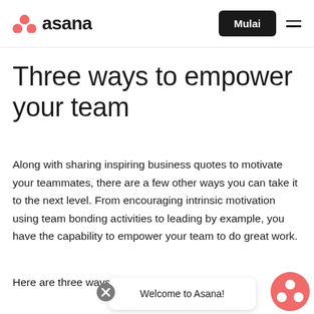asana | Mulai
Three ways to empower your team
Along with sharing inspiring business quotes to motivate your teammates, there are a few other ways you can take it to the next level. From encouraging intrinsic motivation using team bonding activities to leading by example, you have the capability to empower your team to do great work.
Here are three ways to ge
Welcome to Asana!